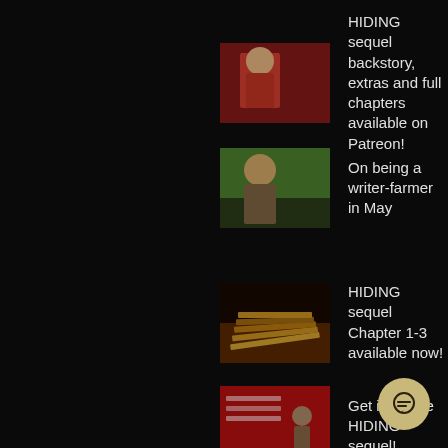HIDING sequel backstory, extras and full chapters available on Patreon!
On being a writer-farmer in May
HIDING sequel Chapter 1-3 available now!
Get in on the HIDING sequel!